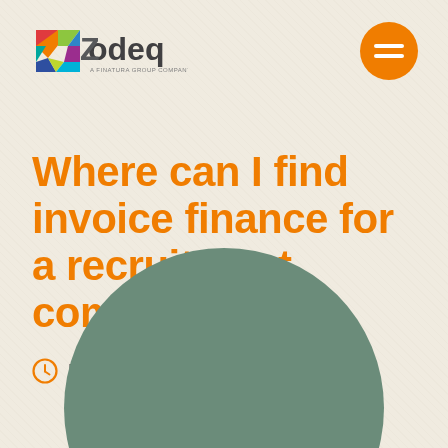[Figure (logo): Zodeq logo - a Finatura Group Company, with colorful geometric shapes forming a Z]
[Figure (other): Orange circle with hamburger menu icon (two white horizontal lines)]
Where can I find invoice finance for a recruitment company?
Published: 11th July 2018
[Figure (illustration): Large muted green circle decorative element at bottom of page]